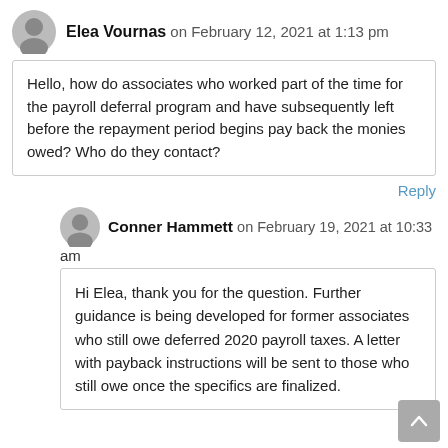Elea Vournas on February 12, 2021 at 1:13 pm
Hello, how do associates who worked part of the time for the payroll deferral program and have subsequently left before the repayment period begins pay back the monies owed? Who do they contact?
Reply
Conner Hammett on February 19, 2021 at 10:33 am
Hi Elea, thank you for the question. Further guidance is being developed for former associates who still owe deferred 2020 payroll taxes. A letter with payback instructions will be sent to those who still owe once the specifics are finalized.